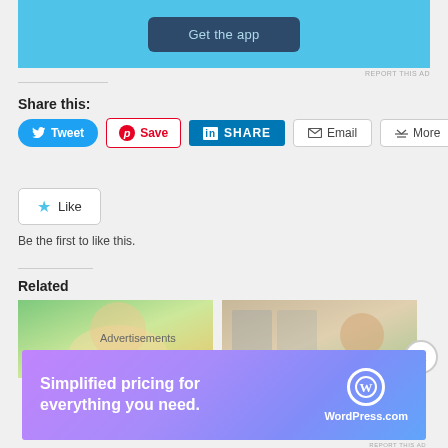[Figure (screenshot): App promotion banner with 'Get the app' button on blue background]
REPORT THIS AD
Share this:
[Figure (screenshot): Social share buttons: Tweet, Save (Pinterest), SHARE (LinkedIn), Email, More]
[Figure (screenshot): Like button with star icon]
Be the first to like this.
Related
[Figure (photo): Related article image 1 - person outdoors]
[Figure (photo): Related article image 2 - person in shop]
Advertisements
[Figure (screenshot): WordPress.com advertisement: Simplified pricing for everything you need.]